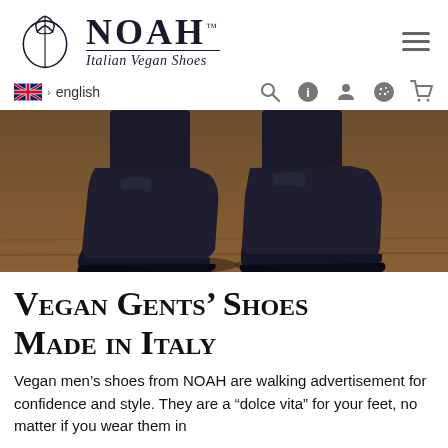[Figure (logo): NOAH Italian Vegan Shoes logo with circular emblem on left and brand name and tagline on right]
english (language selector with UK flag) and navigation icons: search, info, account, cookie, cart
[Figure (photo): Close-up photo of a pair of dark navy/black men's Chelsea-style vegan shoes on a wooden floor, with dark trouser legs visible above]
Vegan Gents' Shoes Made in Italy
Vegan men's shoes from NOAH are walking advertisement for confidence and style. They are a "dolce vita" for your feet, no matter if you wear them in